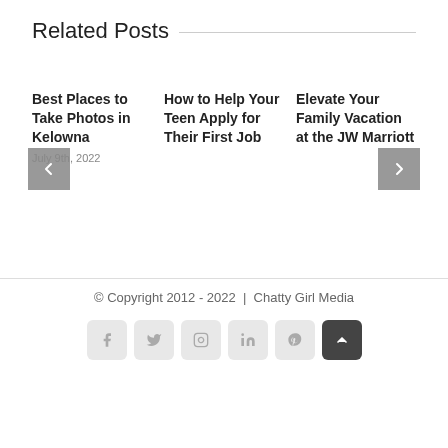Related Posts
Best Places to Take Photos in Kelowna
July 9th, 2022
How to Help Your Teen Apply for Their First Job
Elevate Your Family Vacation at the JW Marriott
© Copyright 2012 - 2022  |  Chatty Girl Media